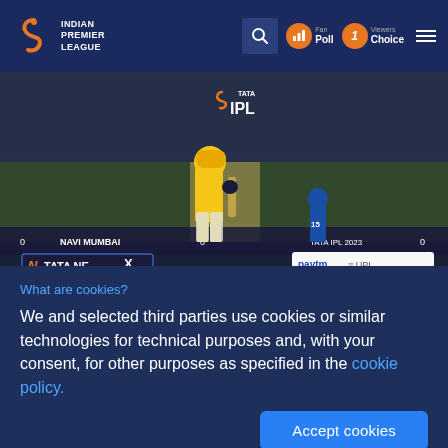Indian Premier League — Navigation bar with Fan Poll, Viewers Choice, search and menu icons
[Figure (screenshot): Cricket match screenshot showing a CSK batsman in yellow kit batting at the crease, with TATA Nex and Paytm UPI advertisements visible on hoardings, and IPL logo overlay. Match title 'Navi Mumbai' visible.]
What are cookies?
We and selected third parties use cookies or similar technologies for technical purposes and, with your consent, for other purposes as specified in the cookie policy.
Accept cookies